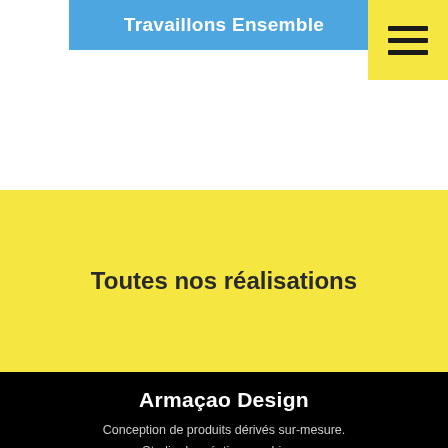Travaillons Ensemble
[Figure (other): Yellow hamburger menu icon button]
Toutes nos réalisations
Armaçao Design
Conception de produits dérivés sur-mesure. Studio de création graphique.
[Figure (logo): Armacao Design logo in white script lettering at bottom of black section]